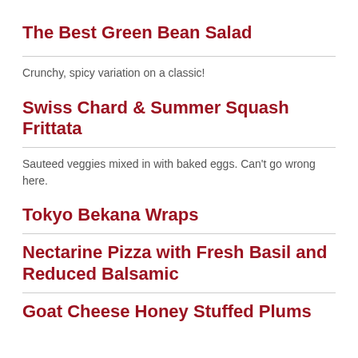The Best Green Bean Salad
Crunchy, spicy variation on a classic!
Swiss Chard & Summer Squash Frittata
Sauteed veggies mixed in with baked eggs. Can't go wrong here.
Tokyo Bekana Wraps
Nectarine Pizza with Fresh Basil and Reduced Balsamic
Goat Cheese Honey Stuffed Plums